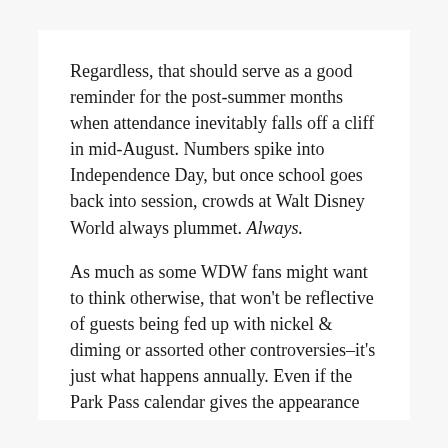Regardless, that should serve as a good reminder for the post-summer months when attendance inevitably falls off a cliff in mid-August. Numbers spike into Independence Day, but once school goes back into session, crowds at Walt Disney World always plummet. Always.
As much as some WDW fans might want to think otherwise, that won't be reflective of guests being fed up with nickel & diming or assorted other controversies–it's just what happens annually. Even if the Park Pass calendar gives the appearance of high demand for August and September, we might safely dismiss that as a red herring.
Now, let's dig into the data to take a look at June 2022 wait times thus far. As always, all graphs and wait time stats are courtesy of Thrill-Data.com:
© Walt Disney World Waittime Averages Wait times